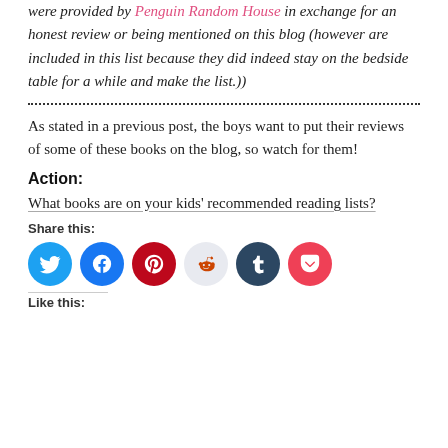were provided by Penguin Random House in exchange for an honest review or being mentioned on this blog (however are included in this list because they did indeed stay on the bedside table for a while and make the list.))
As stated in a previous post, the boys want to put their reviews of some of these books on the blog, so watch for them!
Action:
What books are on your kids' recommended reading lists?
Share this:
[Figure (infographic): Row of six social media share buttons: Twitter (blue), Facebook (blue), Pinterest (red), Reddit (light gray), Tumblr (dark navy), Pocket (red)]
Like this: